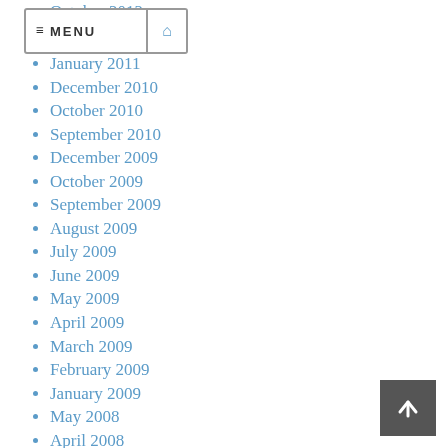October 2012
January 2011
December 2010
October 2010
September 2010
December 2009
October 2009
September 2009
August 2009
July 2009
June 2009
May 2009
April 2009
March 2009
February 2009
January 2009
May 2008
April 2008
March 2008